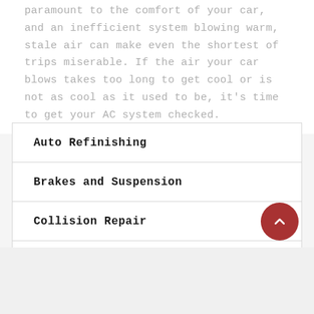paramount to the comfort of your car, and an inefficient system blowing warm, stale air can make even the shortest of trips miserable. If the air your car blows takes too long to get cool or is not as cool as it used to be, it's time to get your AC system checked.
Auto Refinishing
Brakes and Suspension
Collision Repair
Wheel Alignment